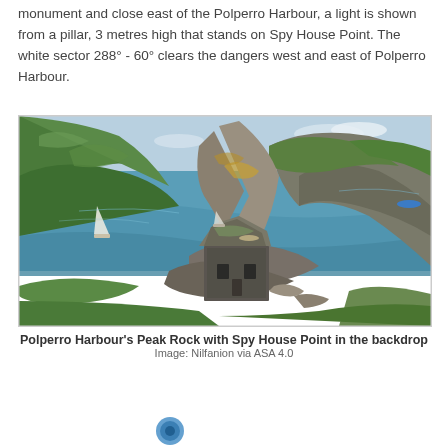monument and close east of the Polperro Harbour, a light is shown from a pillar, 3 metres high that stands on Spy House Point. The white sector 288° - 60° clears the dangers west and east of Polperro Harbour.
[Figure (photo): Aerial/elevated photograph of Polperro Harbour's Peak Rock with a stone building (Spy House Point) perched on rocky cliffs, surrounded by green vegetation, with sailboats and blue-green sea water visible in the background.]
Polperro Harbour's Peak Rock with Spy House Point in the backdrop
Image: Nilfanion via ASA 4.0